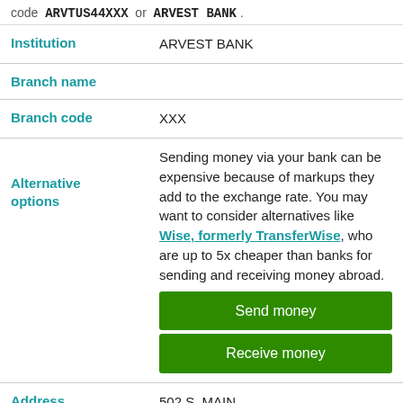code  ARVTUS44XXX  or  ARVEST BANK .
| Institution | ARVEST BANK |
| Branch name |  |
| Branch code | XXX |
| Alternative options | Sending money via your bank can be expensive because of markups they add to the exchange rate. You may want to consider alternatives like Wise, formerly TransferWise, who are up to 5x cheaper than banks for sending and receiving money abroad. |
| Address | 502 S. MAIN |
| City | TULSA, OK |